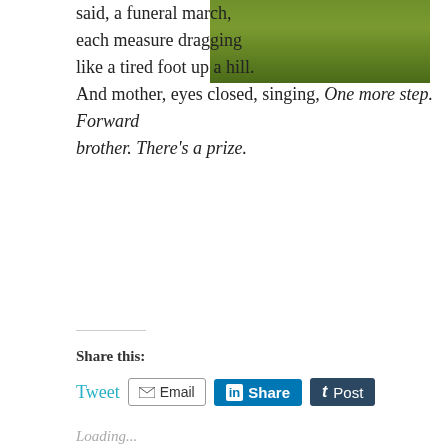said, a funeral march, each measure dragging like a tired foot up a hill. And mother, eyes closed, singing, One more step. Forward brother. There's a prize.
[Figure (photo): Green field or lawn photo, cropped top portion]
Share this:
Tweet  Email  Share  Post
Loading...
Related
This World Is Not My Home by Jeremy Paden (part 2)
June 12, 2012
[Figure (photo): Outdoor garden or field photo with rows of plants and a path]